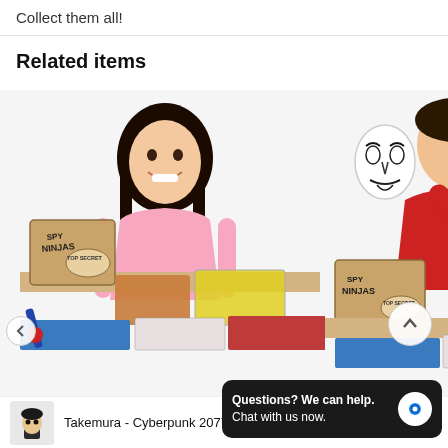Collect them all!
Related items
[Figure (photo): Girl in pink shirt smiling at a Spy Ninjas Top Secret kit with cards and accessories spread on a table]
[Figure (photo): Boy in red shirt holding a white Guy Fawkes mask above a Spy Ninjas Top Secret kit]
Spy Ninjas New Recruit Mission
[Figure (photo): Small thumbnail of a Takemura Funko Pop vinyl figure]
Takemura - Cyberpunk 2077...
Questions? We can help.
Chat with us now.